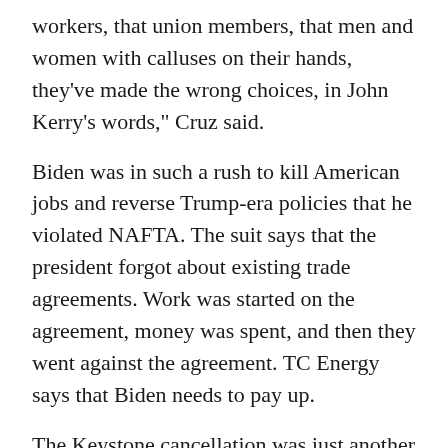workers, that union members, that men and women with calluses on their hands, they've made the wrong choices, in John Kerry's words," Cruz said.
Biden was in such a rush to kill American jobs and reverse Trump-era policies that he violated NAFTA. The suit says that the president forgot about existing trade agreements. Work was started on the agreement, money was spent, and then they went against the agreement. TC Energy says that Biden needs to pay up.
The Keystone cancellation was just another political move to push a far-left agenda. If a company commits resources to the job, then the government should be responsible for the expenses and loss when they strip that away. Next, the contractors who were building the wall should go after Biden.